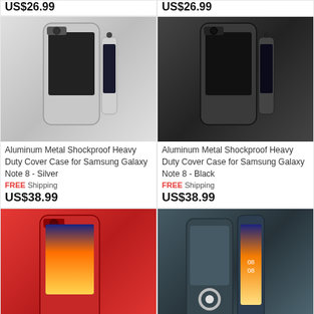[Figure (photo): Aluminum Metal Shockproof Heavy Duty Cover Case for Samsung Galaxy Note 8 - Silver phone case product image]
Aluminum Metal Shockproof Heavy Duty Cover Case for Samsung Galaxy Note 8 - Silver
FREE Shipping
US$38.99
[Figure (photo): Aluminum Metal Shockproof Heavy Duty Cover Case for Samsung Galaxy Note 8 - Black phone case product image]
Aluminum Metal Shockproof Heavy Duty Cover Case for Samsung Galaxy Note 8 - Black
FREE Shipping
US$38.99
[Figure (photo): Aluminum Metal Shockproof Heavy Duty Cover Case for Samsung Galaxy Note 8 - Red phone case product image]
Aluminum Metal Shockproof Heavy Duty Cover Case for Samsung Galaxy
[Figure (photo): Genuine Real Leather Buckle Ring Back Case Cover for Samsung Galaxy phone case product image]
Genuine Real Leather Buckle Ring Back Case Cover for Samsung Galaxy